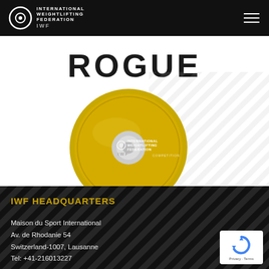IWF INTERNATIONAL WEIGHTLIFTING FEDERATION
[Figure (logo): ROGUE logo text in large bold black letters on white background]
[Figure (photo): Gold weightlifting disc/plate with IWF International Weightlifting Federation logo on it]
IWF HEADQUARTERS
Maison du Sport International
Av. de Rhodanie 54
Switzerland-1007, Lausanne
Tel: +41-216013227
[Figure (other): reCAPTCHA badge with Privacy and Terms links]